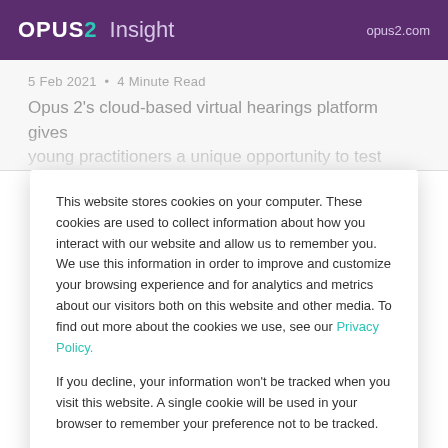OPUS2 Insight — opus2.com
5 Feb 2021 • 4 Minute Read
Opus 2's cloud-based virtual hearings platform gives young practitioners a unique opportunity to test their collaboration skills...
This website stores cookies on your computer. These cookies are used to collect information about how you interact with our website and allow us to remember you. We use this information in order to improve and customize your browsing experience and for analytics and metrics about our visitors both on this website and other media. To find out more about the cookies we use, see our Privacy Policy.
If you decline, your information won't be tracked when you visit this website. A single cookie will be used in your browser to remember your preference not to be tracked.
Cookie preferences   Accept   Decline